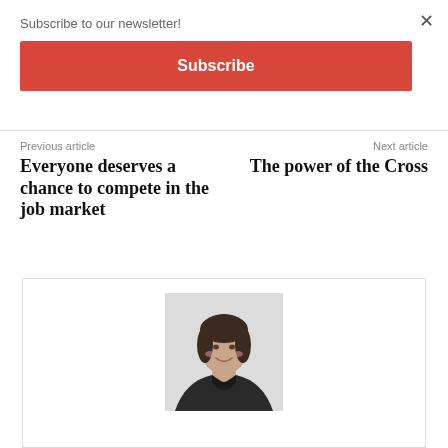×
Subscribe to our newsletter!
Subscribe
Previous article
Everyone deserves a chance to compete in the job market
Next article
The power of the Cross
[Figure (photo): Headshot of a woman with short dark hair, wearing a black jacket, smiling against a light background]